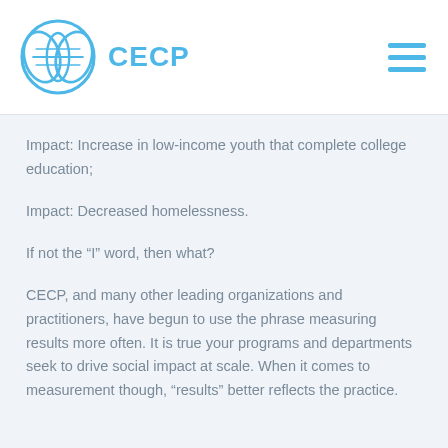CECP
Impact: Increase in low-income youth that complete college education;
Impact: Decreased homelessness.
If not the “I” word, then what?
CECP, and many other leading organizations and practitioners, have begun to use the phrase measuring results more often. It is true your programs and departments seek to drive social impact at scale. When it comes to measurement though, “results” better reflects the practice.